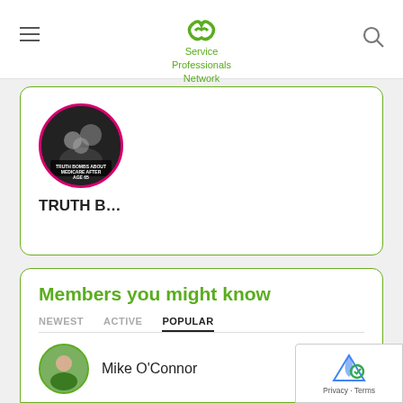Service Professionals Network
[Figure (screenshot): Partially visible card showing a circular avatar image with a pink border, and text 'TRUTH B...' below it]
Members you might know
NEWEST   ACTIVE   POPULAR
Mike O'Connor
Doyle "Strategystorming"